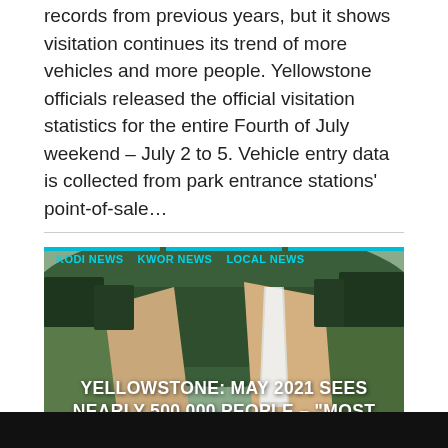records from previous years, but it shows visitation continues its trend of more vehicles and more people. Yellowstone officials released the official visitation statistics for the entire Fourth of July weekend – July 2 to 5. Vehicle entry data is collected from park entrance stations' point-of-sale...
[Figure (photo): News article card with photo of Yellowstone canyon/waterfall landscape. A person with long dark hair sits in the foreground looking at the view. Tags read KODI NEWS, KWOR NEWS, LOCAL NEWS. Headline: YELLOWSTONE: MAY 2021 SEES NEARLY 500,000 PEOPLE – 'MOST VISITED ON RECORD']